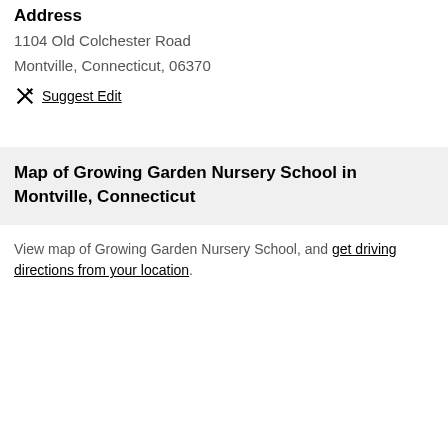Address
1104 Old Colchester Road
Montville, Connecticut, 06370
Suggest Edit
Map of Growing Garden Nursery School in Montville, Connecticut
View map of Growing Garden Nursery School, and get driving directions from your location.